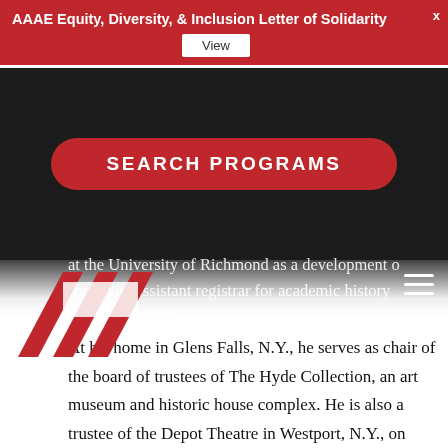AAAE Equity, Diversity, & Inclusion Letter of Solidarity
[Figure (screenshot): Website screenshot with red notification banner, dark hero section with SEARCH PROGRAMS button, AAAE logo, and article text about a person at the University of Richmond]
at the University of Richmond as a development officer and assistant registrar for academic history and compliance.
At his home in Glens Falls, N.Y., he serves as chair of the board of trustees of The Hyde Collection, an art museum and historic house complex. He is also a trustee of the Depot Theatre in Westport, N.Y., on Lake Champlain, where he recently finished a